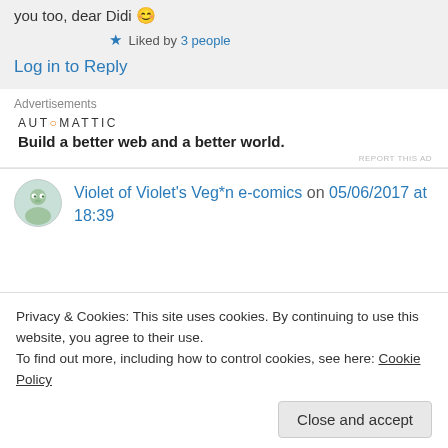you too, dear Didi 😊
★ Liked by 3 people
Log in to Reply
Advertisements
[Figure (logo): Automattic logo with tagline: Build a better web and a better world.]
REPORT THIS AD
Violet of Violet's Veg*n e-comics on 05/06/2017 at 18:39
Privacy & Cookies: This site uses cookies. By continuing to use this website, you agree to their use.
To find out more, including how to control cookies, see here: Cookie Policy
Close and accept